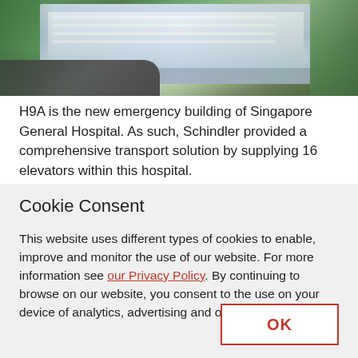[Figure (photo): Exterior photo of a modern hospital building (H9A, Singapore General Hospital) with surrounding greenery, trees, and a road in the foreground.]
H9A is the new emergency building of Singapore General Hospital. As such, Schindler provided a comprehensive transport solution by supplying 16 elevators within this hospital.
Cookie Consent
This website uses different types of cookies to enable, improve and monitor the use of our website. For more information see our Privacy Policy. By continuing to browse on our website, you consent to the use on your device of analytics, advertising and other Cookies.
OK